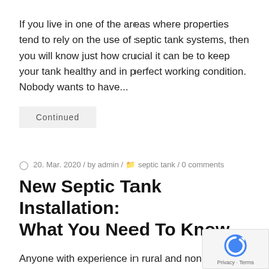If you live in one of the areas where properties tend to rely on the use of septic tank systems, then you will know just how crucial it can be to keep your tank healthy and in perfect working condition. Nobody wants to have...
Continued
20. Mar. 2020 / by admin / septic tank / 0 comments
New Septic Tank Installation: What You Need To Know
Anyone with experience in rural and non-central living locations will most likely have come across septic tanks before. They are more common than you might think and are used all across the